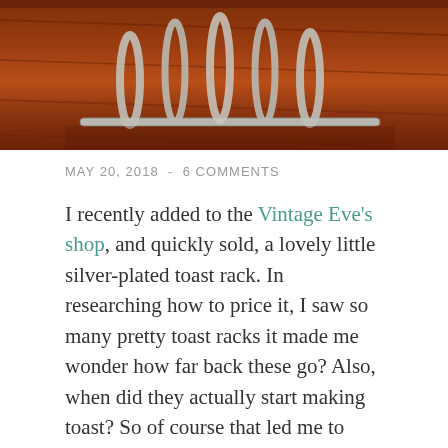[Figure (photo): Top portion of a silver-plated toast rack sitting on a wooden surface, warm brown/orange tones]
MAY 20, 2018  -  6 COMMENTS
I recently added to the Vintage Eve's shop, and quickly sold, a lovely little silver-plated toast rack. In researching how to price it, I saw so many pretty toast racks it made me wonder how far back these go? Also, when did they actually start making toast? So of course that led me to when did they decide they needed a rack to stand them up and why?
Here is a picture of the toast rack that started this short jaunt.
[Figure (photo): Bottom portion showing another toast rack on a wooden surface, partially visible at bottom of page]